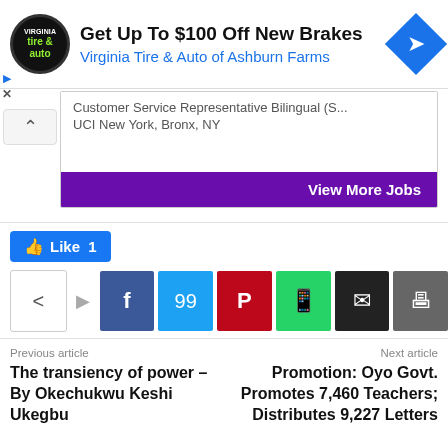[Figure (infographic): Advertisement banner for Virginia Tire & Auto of Ashburn Farms. Logo on left (tire and auto circular logo), headline 'Get Up To $100 Off New Brakes', subtext 'Virginia Tire & Auto of Ashburn Farms' in blue, blue diamond arrow icon on right.]
Customer Service Representative Bilingual (S...
UCI New York, Bronx, NY
View More Jobs
[Figure (infographic): Like button (blue, thumbs up icon, 'Like 1'), and a row of social share buttons: share icon, Facebook, Twitter, Pinterest, WhatsApp, Email, Print]
Previous article
The transiency of power – By Okechukwu Keshi Ukegbu
Next article
Promotion: Oyo Govt. Promotes 7,460 Teachers; Distributes 9,227 Letters